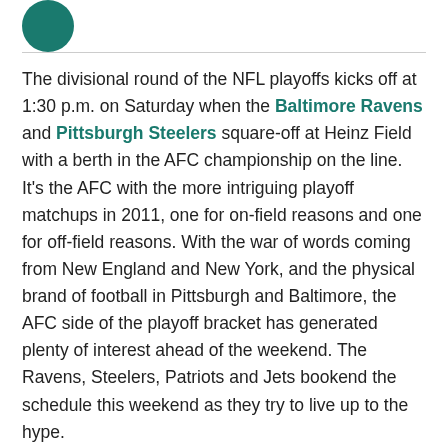[Figure (logo): Circular teal/green logo partially visible at top left]
The divisional round of the NFL playoffs kicks off at 1:30 p.m. on Saturday when the Baltimore Ravens and Pittsburgh Steelers square-off at Heinz Field with a berth in the AFC championship on the line. It's the AFC with the more intriguing playoff matchups in 2011, one for on-field reasons and one for off-field reasons. With the war of words coming from New England and New York, and the physical brand of football in Pittsburgh and Baltimore, the AFC side of the playoff bracket has generated plenty of interest ahead of the weekend. The Ravens, Steelers, Patriots and Jets bookend the schedule this weekend as they try to live up to the hype.